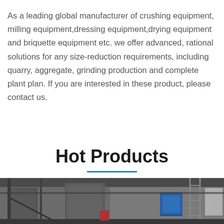As a leading global manufacturer of crushing equipment, milling equipment,dressing equipment,drying equipment and briquette equipment etc. we offer advanced, rational solutions for any size-reduction requirements, including quarry, aggregate, grinding production and complete plant plan. If you are interested in these product, please contact us.
Hot Products
[Figure (photo): Industrial factory interior showing large equipment, metal structures, scaffolding stairs, and blue machinery inside a warehouse building.]